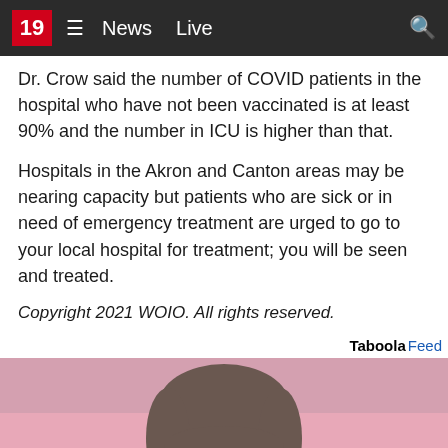19  ≡  News  Live
Dr. Crow said the number of COVID patients in the hospital who have not been vaccinated is at least 90% and the number in ICU is higher than that.
Hospitals in the Akron and Canton areas may be nearing capacity but patients who are sick or in need of emergency treatment are urged to go to your local hospital for treatment; you will be seen and treated.
Copyright 2021 WOIO. All rights reserved.
[Figure (photo): Photo of a young woman with bangs and hair pulled up, against a pink background. Taboola feed advertisement.]